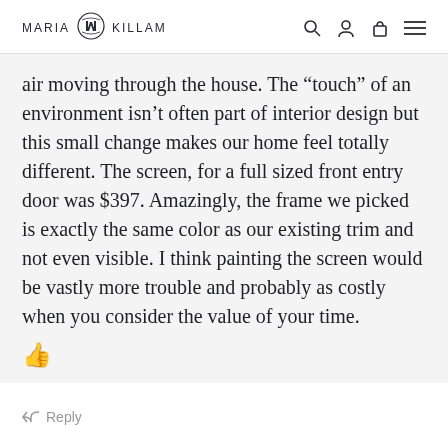MARIA KILLAM
air moving through the house. The “touch” of an environment isn’t often part of interior design but this small change makes our home feel totally different. The screen, for a full sized front entry door was $397. Amazingly, the frame we picked is exactly the same color as our existing trim and not even visible. I think painting the screen would be vastly more trouble and probably as costly when you consider the value of your time.
👍
Reply